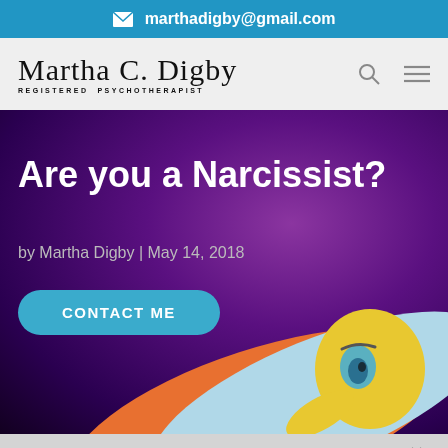✉ marthadigby@gmail.com
[Figure (logo): Martha C. Digby - Registered Psychotherapist logo with cursive name and subtitle text, plus search and menu icons]
Are you a Narcissist?
by Martha Digby | May 14, 2018
CONTACT ME
[Figure (illustration): Cartoon illustration of a narcissist figure looking at reflection, with orange, light blue, and yellow colors at bottom of purple hero area]
Share This ∨